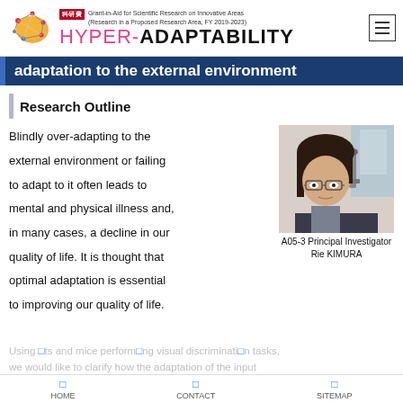HYPER-ADAPTABILITY — Grant-in-Aid for Scientific Research on Innovative Areas (Research in a Proposed Research Area, FY 2019-2023)
adaptation to the external environment
Research Outline
Blindly over-adapting to the external environment or failing to adapt to it often leads to mental and physical illness and, in many cases, a decline in our quality of life. It is thought that optimal adaptation is essential to improving our quality of life.
[Figure (photo): Portrait photo of Rie KIMURA, A05-3 Principal Investigator, a woman with dark hair and glasses in a laboratory setting]
A05-3 Principal Investigator
Rie KIMURA
Using rats and mice performing visual discrimination tasks, we would like to clarify how the adaptation of the input
HOME   CONTACT   SITEMAP